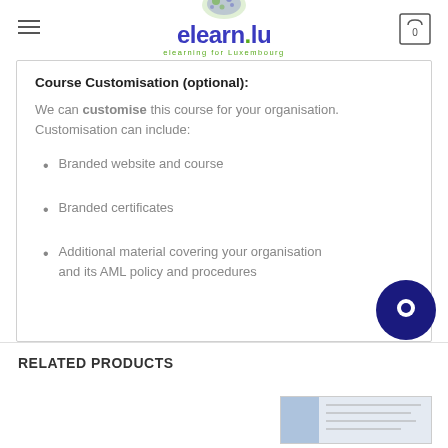elearn.lu — elearning for Luxembourg
Course Customisation (optional):
We can customise this course for your organisation. Customisation can include:
Branded website and course
Branded certificates
Additional material covering your organisation and its AML policy and procedures
RELATED PRODUCTS